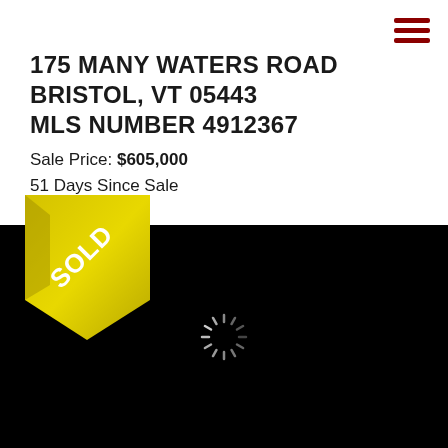175 MANY WATERS ROAD
BRISTOL, VT 05443
MLS NUMBER 4912367
Sale Price: $605,000
51 Days Since Sale
[Figure (photo): Black loading screen with a circular loading spinner, overlaid with a yellow/gold SOLD ribbon banner in the upper left corner]